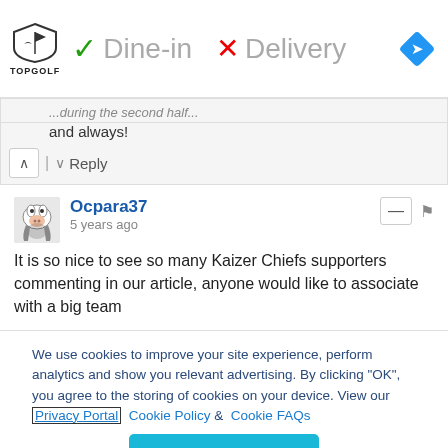[Figure (screenshot): Topgolf ad banner showing logo, green checkmark with 'Dine-in', red X with 'Delivery', and blue navigation diamond icon]
...during the second half...
and always!
^ | v  Reply
Ocpara37
5 years ago
It is so nice to see so many Kaizer Chiefs supporters commenting in our article, anyone would like to associate with a big team
We use cookies to improve your site experience, perform analytics and show you relevant advertising. By clicking "OK", you agree to the storing of cookies on your device. View our Privacy Portal Cookie Policy &  Cookie FAQs
OK